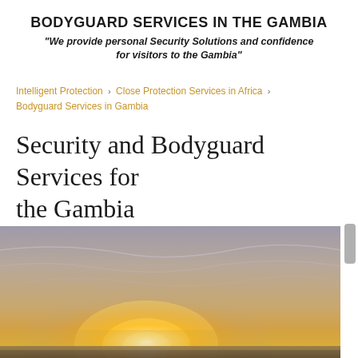BODYGUARD SERVICES IN THE GAMBIA
"We provide personal Security Solutions and confidence for visitors to the Gambia"
Intelligent Protection › Close Protection Services in Africa › Bodyguard Services in Gambia
Security and Bodyguard Services for the Gambia
[Figure (photo): Sunset or sunrise landscape photo showing a bright glowing sun near the horizon with a hazy sky and flat terrain below]